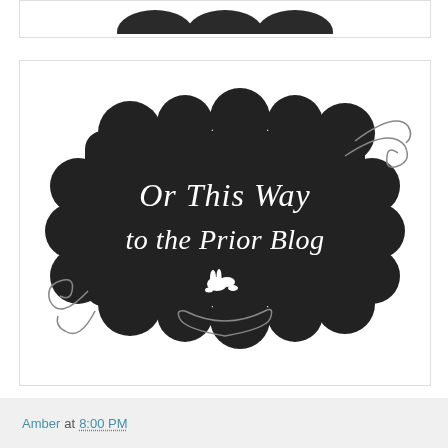[Figure (photo): Partial top strip showing dark decorative items on white background]
[Figure (illustration): Dark decorative cloud/scroll-shaped sign with white text reading 'Or This Way to the Prior Blog' and a white rabbit silhouette with decorative swirls]
Amber at 8:00 PM
3 comments:
[Figure (photo): Profile photo of Linda Bauwin - woman in red shirt]
Linda Bauwin  December 20, 2017
So love this bundle. Thanks for sharing
Reply